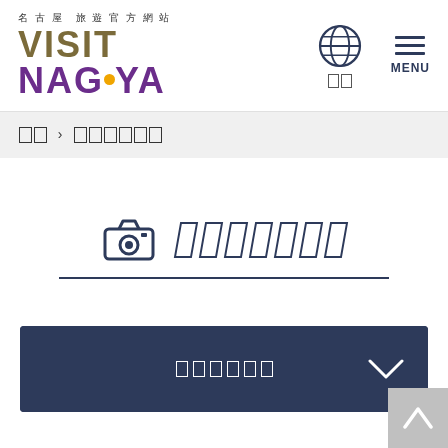名古屋 旅遊官方網站 VISIT NAGOYA — header with globe icon and MENU
□□ □ □□□□□□ (breadcrumb navigation)
[Figure (other): Camera icon followed by italic placeholder text boxes forming section title, with underline]
[Figure (other): Dark navy bar with placeholder text and chevron down arrow]
[Figure (other): Light grey back-to-top button with upward chevron arrow]